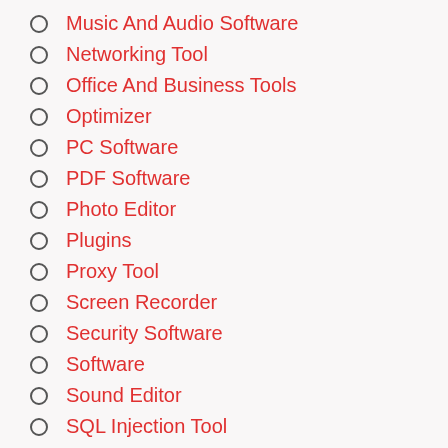Music And Audio Software
Networking Tool
Office And Business Tools
Optimizer
PC Software
PDF Software
Photo Editor
Plugins
Proxy Tool
Screen Recorder
Security Software
Software
Sound Editor
SQL Injection Tool
Streaming Tool